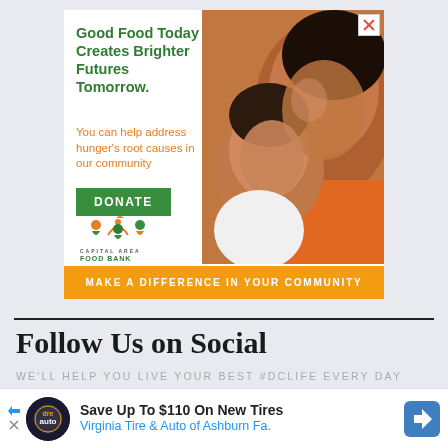[Figure (photo): Capital Area Food Bank advertisement. Shows a woman and child hugging. Text: 'Good Food Today Creates Brighter Futures Tomorrow.' Orange subtext: 'You can help address hunger's root causes in our community'. Green DONATE button. Capital Area Food Bank logo. Orange bar at bottom: 'MAKE A DIFFERENCE IN YOUR COMMUNITY'. Close X button top right.]
Follow Us on Social
WE'LL HELP YOU LIVE YOUR BEST #DCLIFE EVERY DAY
[Figure (other): Social media icon circles: Facebook (blue), Twitter (light blue), Instagram (pink/magenta), Pinterest (red), and one more dark circle, partially visible]
[Figure (other): Advertisement: Save Up To $110 On New Tires - Virginia Tire & Auto of Ashburn Fa. With auto service logo and navigation arrow icon.]